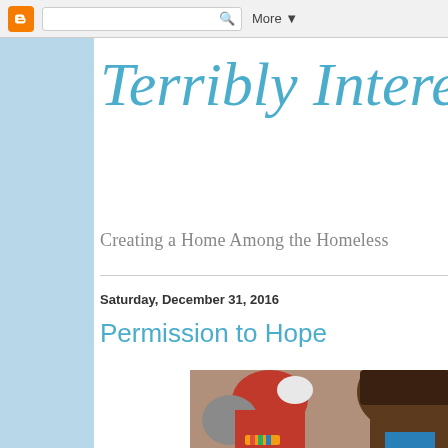Blogger navbar with search bar and More button
Terribly Interesti...
Creating a Home Among the Homeless
Saturday, December 31, 2016
Permission to Hope
[Figure (photo): Photo of a person in a red shirt, seen from behind/side, leaning forward; another person's head visible to the right]